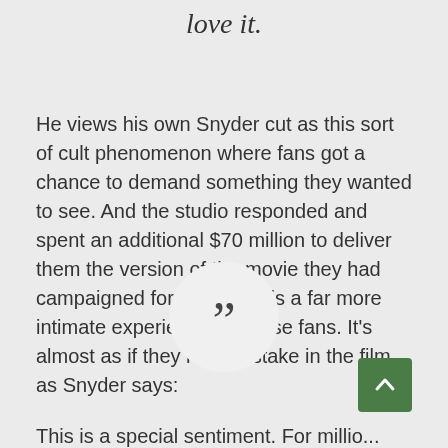love it.
He views his own Snyder cut as this sort of cult phenomenon where fans got a chance to demand something they wanted to see. And the studio responded and spent an additional $70 million to deliver them the version of the movie they had campaigned for, making this a far more intimate experience for those fans. It's almost as if they have a stake in the film, as Snyder says:
[Figure (illustration): A circular grey quotation mark icon with large double closing quotation marks in dark grey, and a green square button with an upward arrow in the bottom right corner.]
This is a special sentiment. For millio...